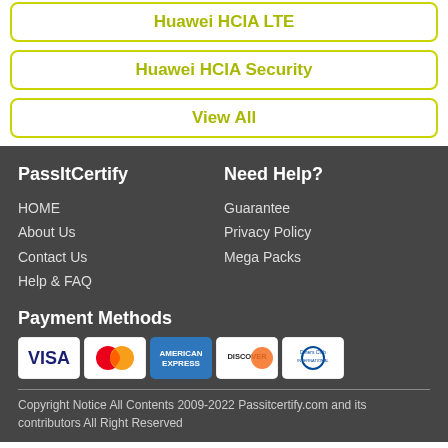Huawei HCIA LTE
Huawei HCIA Security
View All
PassItCertify
Need Help?
HOME
About Us
Contact Us
Help & FAQ
Guarantee
Privacy Policy
Mega Packs
Payment Methods
[Figure (logo): Payment method logos: VISA, MasterCard, American Express, Discover, Diners Club International]
Copyright Notice All Contents 2009-2022 Passitcertify.com and its contributors All Right Reserved